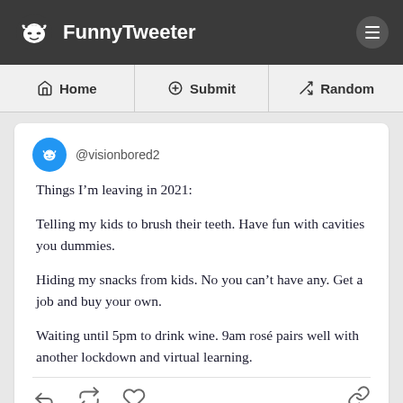FunnyTweeter
Home | Submit | Random
@visionbored2
Things I’m leaving in 2021:

Telling my kids to brush their teeth. Have fun with cavities you dummies.

Hiding my snacks from kids. No you can’t have any. Get a job and buy your own.

Waiting until 5pm to drink wine. 9am rosé pairs well with another lockdown and virtual learning.